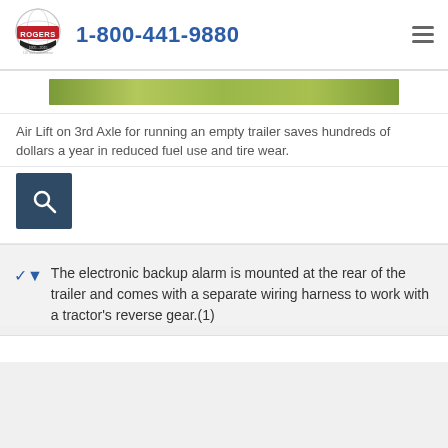[Figure (logo): Rogers company logo with globe, red banner, and '1905-2015 110 Years of Excellence' text]
1-800-441-9880
[Figure (photo): Green grass/turf image strip at top of card]
Air Lift on 3rd Axle for running an empty trailer saves hundreds of dollars a year in reduced fuel use and tire wear.
[Figure (other): Dark blue search icon button with magnifying glass symbol]
The electronic backup alarm is mounted at the rear of the trailer and comes with a separate wiring harness to work with a tractor's reverse gear.(1)